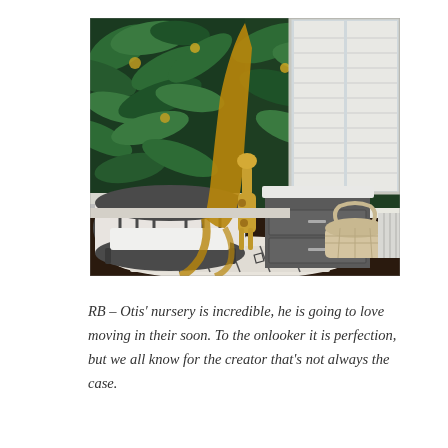[Figure (photo): A baby nursery room featuring tropical leaf wallpaper in dark green with yellow accents covering the walls, a dark grey oval crib with white bedding, a golden/mustard yellow canopy hanging over the crib, a standing giraffe stuffed animal toy, a dark grey dresser with changing table top, a white radiator, white plantation shutters on the window, a white and black patterned area rug on dark wood floors, and a large woven basket in the corner.]
RB – Otis' nursery is incredible, he is going to love moving in their soon. To the onlooker it is perfection, but we all know for the creator that's not always the case.